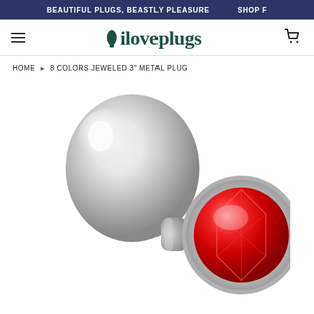BEAUTIFUL PLUGS, BEASTLY PLEASURE   SHOP F
[Figure (logo): iloveplugs brand logo with plug icon]
HOME › 8 COLORS JEWELED 3" METAL PLUG
[Figure (photo): Silver metal anal plug with red jeweled base, shown at an angle displaying the shiny bullet-shaped body and round red crystal base]